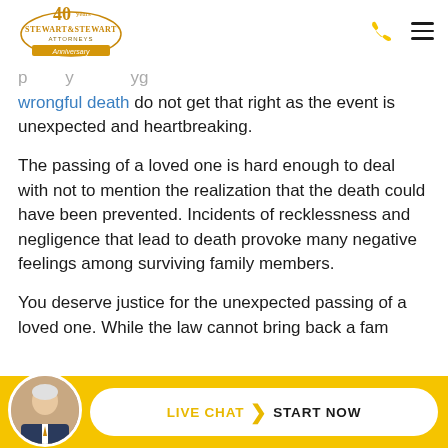Stewart & Stewart Attorneys — 40th Anniversary
... wrongful death do not get that right as the event is unexpected and heartbreaking.
The passing of a loved one is hard enough to deal with not to mention the realization that the death could have been prevented. Incidents of recklessness and negligence that lead to death provoke many negative feelings among surviving family members.
You deserve justice for the unexpected passing of a loved one. While the law cannot bring back a family member...
LIVE CHAT > START NOW